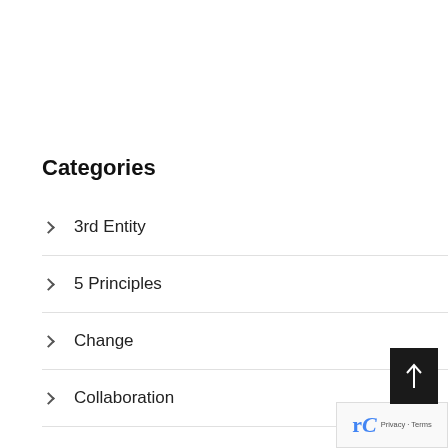Categories
3rd Entity
5 Principles
Change
Collaboration
Conflict